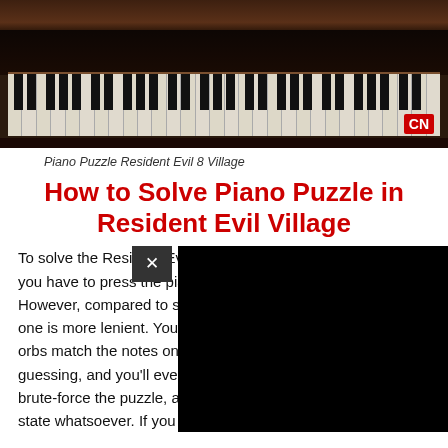[Figure (photo): Dark wooden piano keyboard photographed from above, showing white and black keys spanning the full width, with a red CN logo watermark in the lower right corner.]
Piano Puzzle Resident Evil 8 Village
How to Solve Piano Puzzle in Resident Evil Village
To solve the Resident Evil 8 piano puzzle in the music room, you have to press the piano keys in order to play the melody. However, compared to similar puzzles in horror games, this one is more lenient. You can just hit the keys until the little orbs match the notes on the music sheet. You can do this by guessing, and you'll eventually get it. Yes, you can literally brute-force the puzzle, and it doesn't seem to have any fail state whatsoever. If you